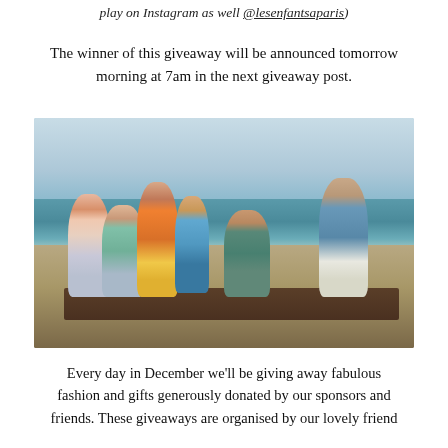play on Instagram as well @lesenfantsaparis)
The winner of this giveaway will be announced tomorrow morning at 7am in the next giveaway post.
[Figure (photo): Group of children posing on a wooden platform/raft on a sandy beach, wearing colourful summer fashion clothing, with the sea and sky in the background.]
Every day in December we'll be giving away fabulous fashion and gifts generously donated by our sponsors and friends. These giveaways are organised by our lovely friend